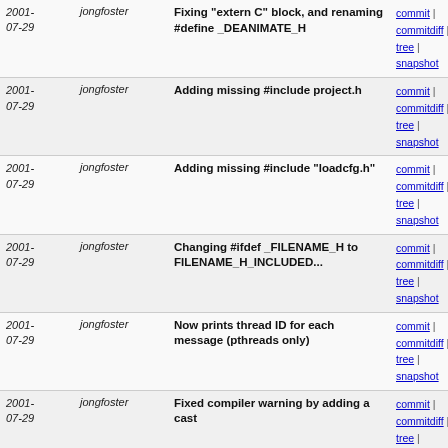| Date | Author | Message | Links |
| --- | --- | --- | --- |
| 2001-07-29 | jongfoster | Fixing "extern C" block, and renaming #define _DEANIMATE_H | commit | commitdiff | tree | snapshot |
| 2001-07-29 | jongfoster | Adding missing #include project.h | commit | commitdiff | tree | snapshot |
| 2001-07-29 | jongfoster | Adding missing #include "loadcfg.h" | commit | commitdiff | tree | snapshot |
| 2001-07-29 | jongfoster | Changing #ifdef _FILENAME_H to FILENAME_H_INCLUDED... | commit | commitdiff | tree | snapshot |
| 2001-07-29 | jongfoster | Now prints thread ID for each message (pthreads only) | commit | commitdiff | tree | snapshot |
| 2001-07-29 | jongfoster | Fixed compiler warning by adding a cast | commit | commitdiff | tree | snapshot |
| 2001-07-29 | jongfoster | Cosmetic: 2 spaces -> 1 space | commit | commitdiff | tree | snapshot |
| 2001-07-29 | jongfoster | Rebuilt based on latest configure.in | commit | commitdiff | tree | snapshot |
| 2001-07-29 | jongfoster | Rebuilt based on latest configure.in and acconfig.h | commit | commitdiff | tree | snapshot |
| 2001-07-29 | jongfoster | Major changes to build system in order to fix these... | commit | commitdiff | tree | snapshot |